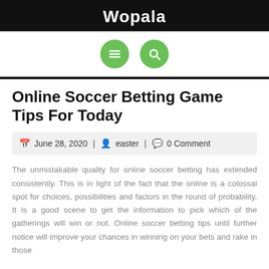Wopala
[Figure (other): Navigation bar with green circular menu icon (hamburger) and green circular search icon (magnifying glass)]
Online Soccer Betting Game Tips For Today
June 28, 2020 | easter | 0 Comment
The unmistakable quality for online soccer betting has extended consistently. This is in light of the fact that the online is a colossal spot for choices, possibilities and factors in the round of probability. It is a good scene to get the information to pick which of the gatherings will win or not. Online soccer betting tips until further notice will improve your chances in winning on your bets and rake in those